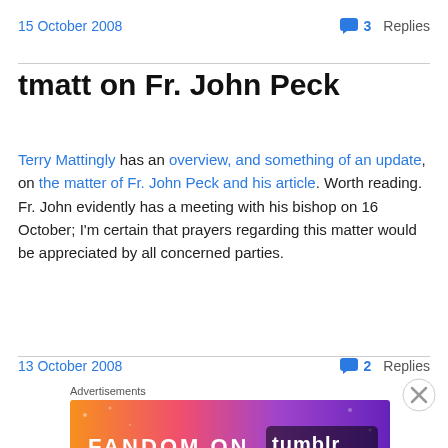15 October 2008    💬 3 Replies
tmatt on Fr. John Peck
Terry Mattingly has an overview, and something of an update, on the matter of Fr. John Peck and his article. Worth reading. Fr. John evidently has a meeting with his bishop on 16 October; I'm certain that prayers regarding this matter would be appreciated by all concerned parties.
13 October 2008    💬 2 Replies
[Figure (infographic): Fandom on Tumblr advertisement banner with colorful gradient background (orange to purple) and white text reading FANDOM ON tumblr with decorative icons]
Advertisements